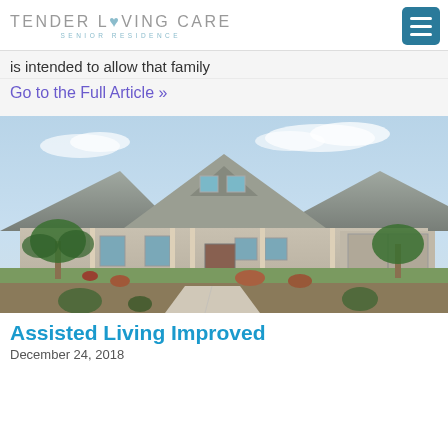TENDER LOVING CARE SENIOR RESIDENCE
is intended to allow that family
Go to the Full Article »
[Figure (photo): Exterior photo of a large single-story house with a prominent gabled roof, two-car garage, palm trees, desert landscaping, and a concrete walkway leading to the front entrance.]
Assisted Living Improved
December 24, 2018